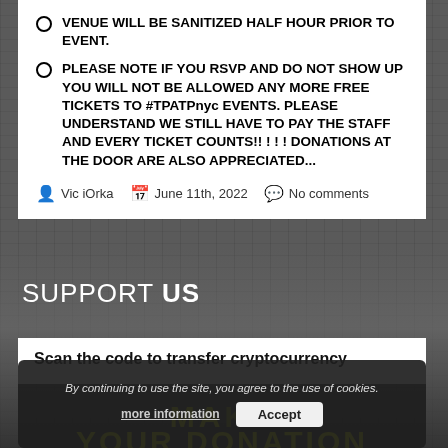VENUE WILL BE SANITIZED HALF HOUR PRIOR TO EVENT.
PLEASE NOTE IF YOU RSVP AND DO NOT SHOW UP YOU WILL NOT BE ALLOWED ANY MORE FREE TICKETS TO #TPATPnyc EVENTS. PLEASE UNDERSTAND WE STILL HAVE TO PAY THE STAFF AND EVERY TICKET COUNTS!! ! ! ! DONATIONS AT THE DOOR ARE ALSO APPRECIATED...
Vic iOrka   June 11th, 2022   No comments
SUPPORT US
Scan the code to transfer cryptocurrency
By continuing to use the site, you agree to the use of cookies.
more information   Accept
MAKE
YOUR DONATION